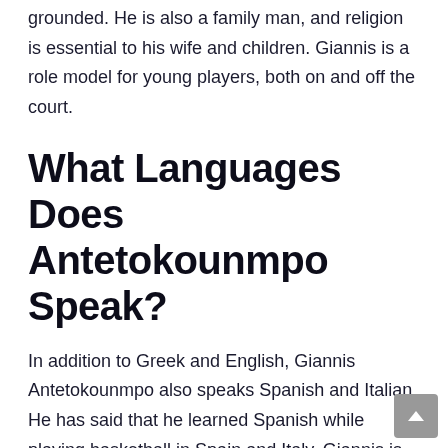grounded. He is also a family man, and religion is essential to his wife and children. Giannis is a role model for young players, both on and off the court.
What Languages Does Antetokounmpo Speak?
In addition to Greek and English, Giannis Antetokounmpo also speaks Spanish and Italian. He has said that he learned Spanish while playing basketball in Spain and Italy. Giannis is also currently learning French